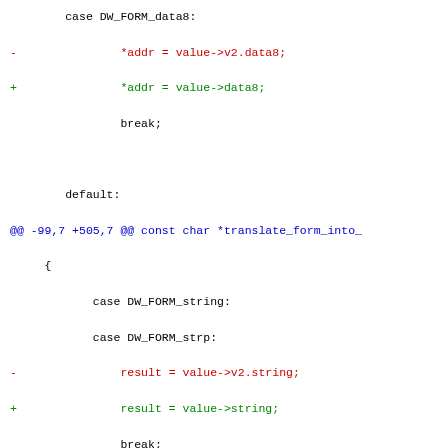code diff showing changes to dwarf form handling and form.h header file
[Figure (screenshot): Source code diff showing changes to DW_FORM_data8 and DW_FORM_string cases, plus a git diff for plugins/dwarf/form.h]